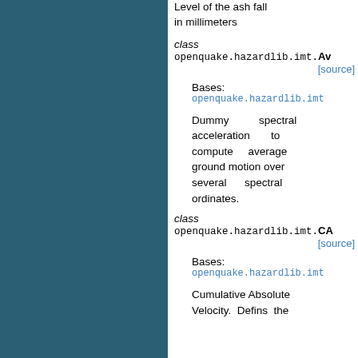Level of the ash fall in millimeters
class openquake.hazardlib.imt.Av [source]
Bases: openquake.hazardlib.imt...
Dummy spectral acceleration to compute average ground motion over several spectral ordinates.
class openquake.hazardlib.imt.CA [source]
Bases: openquake.hazardlib.imt...
Cumulative Absolute Velocity. Defins the